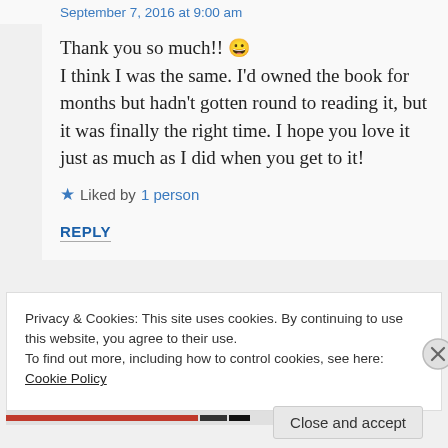September 7, 2016 at 9:00 am
Thank you so much!! 😀 I think I was the same. I'd owned the book for months but hadn't gotten round to reading it, but it was finally the right time. I hope you love it just as much as I did when you get to it!
★ Liked by 1 person
REPLY
Privacy & Cookies: This site uses cookies. By continuing to use this website, you agree to their use.
To find out more, including how to control cookies, see here: Cookie Policy
Close and accept